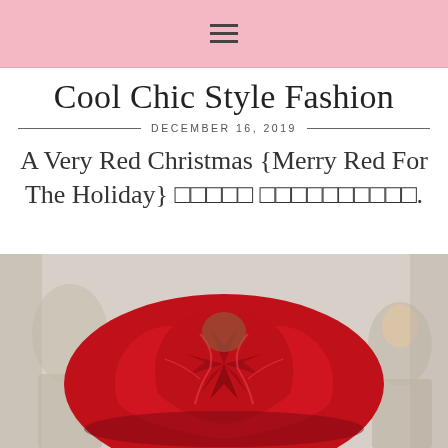≡
Cool Chic Style Fashion
DECEMBER 16, 2019
A Very Red Christmas {Merry Red For The Holiday} □□□□□ □□□□□□□□□□.
[Figure (photo): A person wearing a large voluminous red dress or garment, photographed from behind, surrounded by other people in a gallery or showroom setting.]